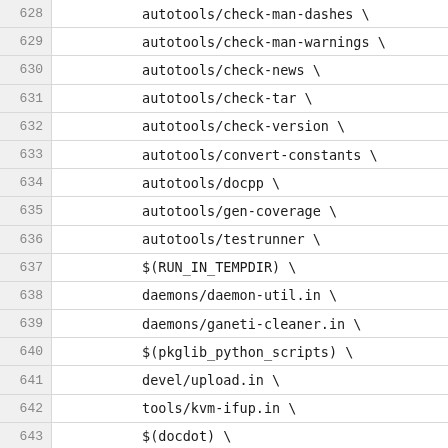628  autotools/check-man-dashes \
629  autotools/check-man-warnings \
630  autotools/check-news \
631  autotools/check-tar \
632  autotools/check-version \
633  autotools/convert-constants \
634  autotools/docpp \
635  autotools/gen-coverage \
636  autotools/testrunner \
637  $(RUN_IN_TEMPDIR) \
638  daemons/daemon-util.in \
639  daemons/ganeti-cleaner.in \
640  $(pkglib_python_scripts) \
641  devel/upload.in \
642  tools/kvm-ifup.in \
643  $(docdot) \
644  $(docpng) \
645  $(docrst) \
646  doc/conf.py \
647  doc/html \
648  $(BUILT_EXAMPLES:%=%.in) \
649  doc/examples/ganeti.default \
650  doc/examples/ganeti.default-debug \
651  doc/examples/hooks/ethers \
652  doc/examples/gnt-debug/README \